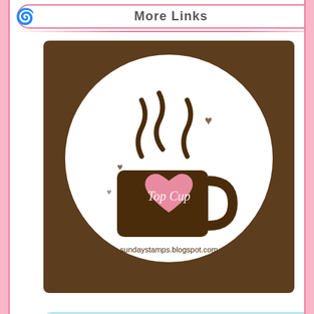More Links
[Figure (logo): Top Cup logo - brown coffee mug with pink heart on white circle background, sundaystamps.blogspot.com]
[Figure (logo): I was a top pick at the Retro Rubber Challenge Blog - light blue background badge, www.retrorubberchallengeblog.com]
[Figure (logo): Partially visible circular coin/badge with decorative text]
[Figure (photo): Purple/navy card or folder with white and purple striped twine bow, against light gray background]